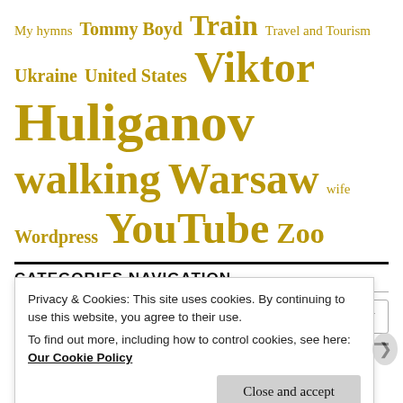My hymns  Tommy Boyd  Train  Travel and Tourism  Ukraine  United States  Viktor Huliganov  walking  Warsaw  wife  Wordpress  YouTube  Zoo
CATEGORIES NAVIGATION
Select Category
BACK BY POPULAR DEMAND, RECENT COMMENTS
Privacy & Cookies: This site uses cookies. By continuing to use this website, you agree to their use.
To find out more, including how to control cookies, see here: Our Cookie Policy
Close and accept